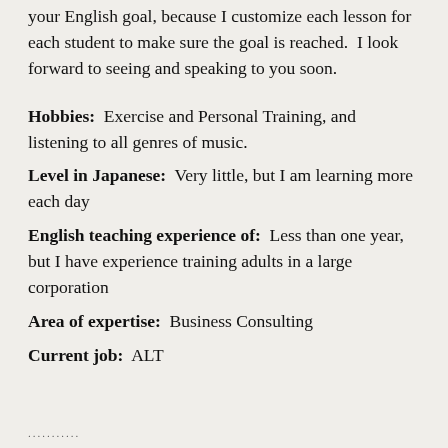your English goal, because I customize each lesson for each student to make sure the goal is reached.  I look forward to seeing and speaking to you soon.
Hobbies:  Exercise and Personal Training, and listening to all genres of music.
Level in Japanese:  Very little, but I am learning more each day
English teaching experience of:  Less than one year, but I have experience training adults in a large corporation
Area of expertise:  Business Consulting
Current job:  ALT
...........